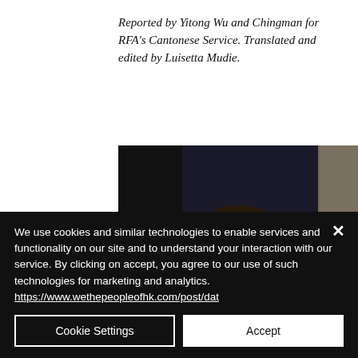Reported by Yitong Wu and Chingman for RFA's Cantonese Service. Translated and edited by Luisetta Mudie.
[Figure (photo): A young Asian man in a white shirt against a dark background, shown from approximately shoulder height up, photographed indoors.]
We use cookies and similar technologies to enable services and functionality on our site and to understand your interaction with our service. By clicking on accept, you agree to our use of such technologies for marketing and analytics. https://www.wethepeopleofhk.com/post/dat